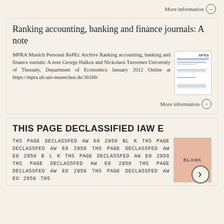More information →
Ranking accounting, banking and finance journals: A note
MPRA Munich Personal RePEc Archive Ranking accounting, banking and finance journals: A note George Halkos and Nickolaos Tzeremes University of Thessaly, Department of Economics January 2012 Online at https://mpra.ub.uni-muenchen.de/36166/
More information →
THIS PAGE DECLASSIFIED IAW E
THS PAGE DECLASSFED AW E0 2958 BL K THS PAGE DECLASSFED AW E0 2958 THS PAGE DECLASSFED AW E0 2958 B L K THS PAGE DECLASSFED AW E0 2958 THS PAGE DECLASSFED AW E0 2958 THS PAGE DECLASSFED AW EO 2958 THS PAGE DECLASSFED AW EO 2958 THS